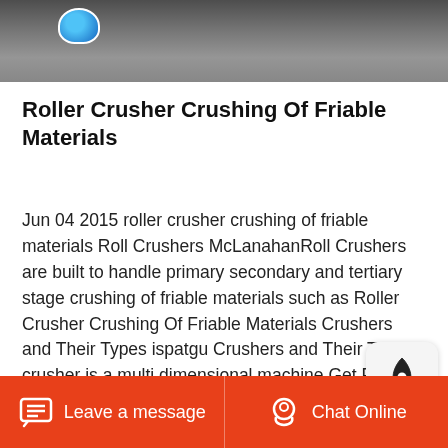[Figure (photo): Partial view of a roller crusher machine with metal components, gravel/rock material visible. A small colorful badge/logo in the upper left corner of the image.]
Roller Crusher Crushing Of Friable Materials
Jun 04 2015 roller crusher crushing of friable materials Roll Crushers McLanahanRoll Crushers are built to handle primary secondary and tertiary stage crushing of friable materials such as Roller Crusher Crushing Of Friable Materials Crushers and Their Types ispatgu Crushers and Their Typ A crusher is a multi dimensional machine Get Price Feb 19 2021 Roll crusher Double roll crusher Teech roll crusher Roller The roll crusher is widely used for crushing high hard
Leave a message   Chat Online